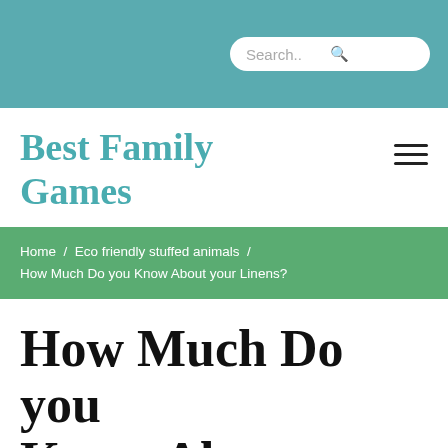Search..
Best Family Games
Home / Eco friendly stuffed animals / How Much Do you Know About your Linens?
How Much Do you Know About your Linens?